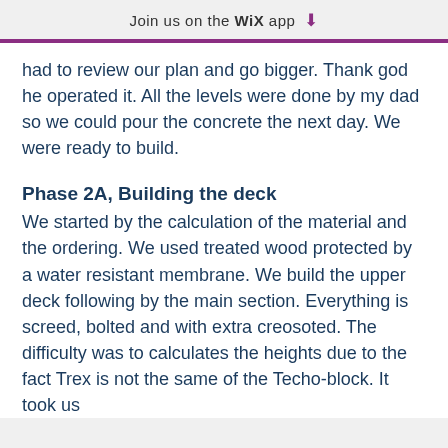Join us on the WiX app ↓
had to review our plan and go bigger. Thank god he operated it. All the levels were done by my dad so we could pour the concrete the next day. We were ready to build.
Phase 2A, Building the deck
We started by the calculation of the material and the ordering. We used treated wood protected by a water resistant membrane. We build the upper deck following by the main section. Everything is screed, bolted and with extra creosoted. The difficulty was to calculates the heights due to the fact Trex is not the same of the Techo-block. It took us